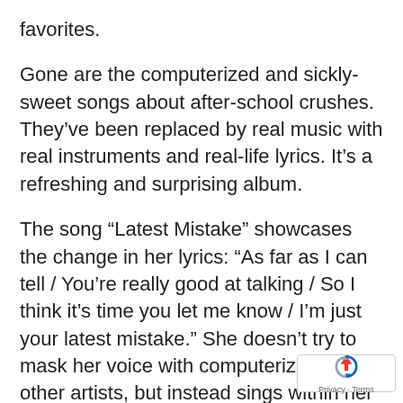favorites.
Gone are the computerized and sickly-sweet songs about after-school crushes. They’ve been replaced by real music with real instruments and real-life lyrics. It’s a refreshing and surprising album.
The song “Latest Mistake” showcases the change in her lyrics: “As far as I can tell / You’re really good at talking / So I think it’s time you let me know / I’m just your latest mistake.” She doesn’t try to mask her voice with computerization like other artists, but instead sings within her range. However, the passion Moore invokes is more than enough to take her music to the next level.
This passion probably stems from the fact that she actually co-wrote several of the album’s songs